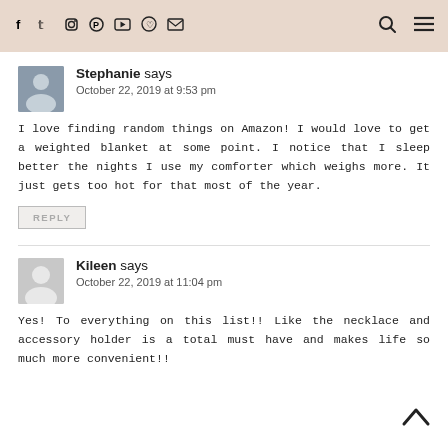Social icons header bar with search and menu
Stephanie says
October 22, 2019 at 9:53 pm
I love finding random things on Amazon! I would love to get a weighted blanket at some point. I notice that I sleep better the nights I use my comforter which weighs more. It just gets too hot for that most of the year.
REPLY
Kileen says
October 22, 2019 at 11:04 pm
Yes! To everything on this list!! Like the necklace and accessory holder is a total must have and makes life so much more convenient!!